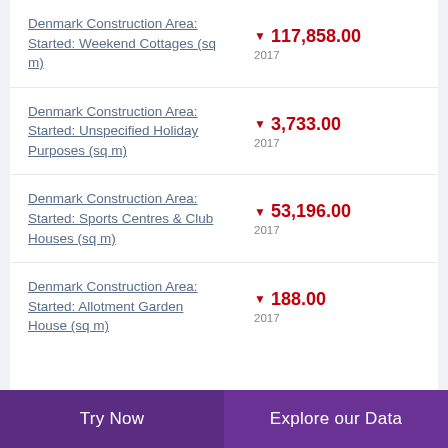Denmark Construction Area: Started: Weekend Cottages (sq m)
Denmark Construction Area: Started: Unspecified Holiday Purposes (sq m)
Denmark Construction Area: Started: Sports Centres & Club Houses (sq m)
Denmark Construction Area: Started: Allotment Garden House (sq m)
Try Now | Explore our Data